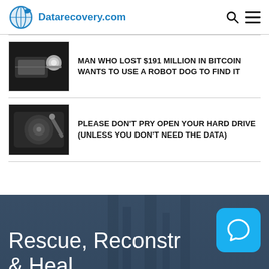Datarecovery.com
[Figure (photo): Thumbnail image of hard drive or electronic component with metallic sphere – article thumbnail for Bitcoin article]
MAN WHO LOST $191 MILLION IN BITCOIN WANTS TO USE A ROBOT DOG TO FIND IT
[Figure (photo): Thumbnail image of hard drive interior – article thumbnail for hard drive article]
PLEASE DON'T PRY OPEN YOUR HARD DRIVE (UNLESS YOU DON'T NEED THE DATA)
[Figure (photo): Hero background with dark blue cityscape and 'Rescue, Reconstruct & Heal' text overlay and chat bubble icon]